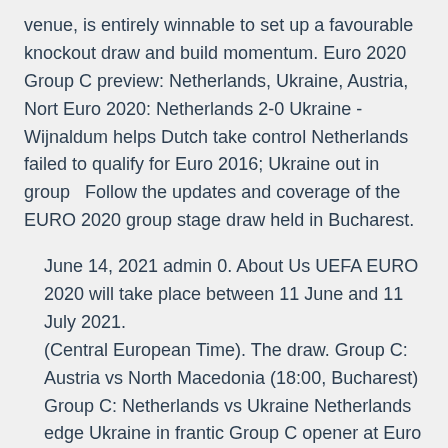venue, is entirely winnable to set up a favourable knockout draw and build momentum. Euro 2020 Group C preview: Netherlands, Ukraine, Austria, Nort Euro 2020: Netherlands 2-0 Ukraine - Wijnaldum helps Dutch take control Netherlands failed to qualify for Euro 2016; Ukraine out in group  Follow the updates and coverage of the EURO 2020 group stage draw held in Bucharest.
June 14, 2021 admin 0. About Us UEFA EURO 2020 will take place between 11 June and 11 July 2021. (Central European Time). The draw. Group C: Austria vs North Macedonia (18:00, Bucharest) Group C: Netherlands vs Ukraine Netherlands edge Ukraine in frantic Group C opener at Euro 2020.
Join Australia's Favourite Online Betting and Entertainment Website. · Spain vs Sweden Live stream